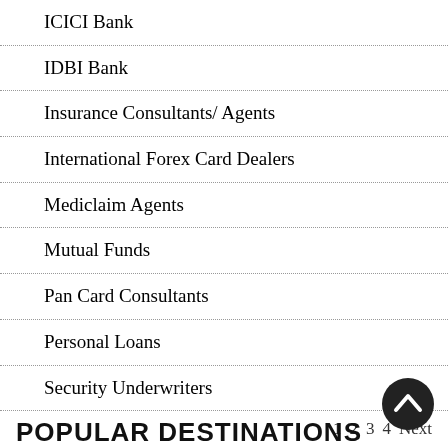ICICI Bank
IDBI Bank
Insurance Consultants/ Agents
International Forex Card Dealers
Mediclaim Agents
Mutual Funds
Pan Card Consultants
Personal Loans
Security Underwriters
1  2  3  4  Next
[Figure (screenshot): Facebook Like button showing 0 likes, tell a friend button, and Tweet button]
POPULAR DESTINATIONS